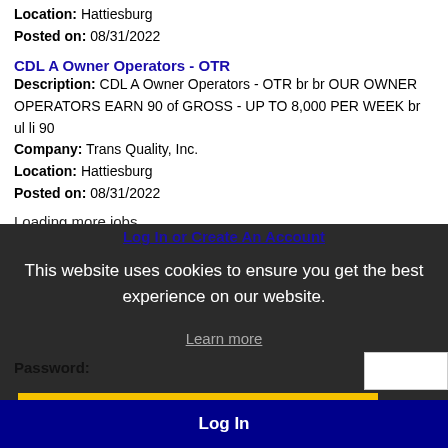Location: Hattiesburg
Posted on: 08/31/2022
CDL A Owner Operators - OTR
Description: CDL A Owner Operators - OTR br br OUR OWNER OPERATORS EARN 90 of GROSS - UP TO 8,000 PER WEEK br ul li 90
Company: Trans Quality, Inc.
Location: Hattiesburg
Posted on: 08/31/2022
Loading more jobs...
Log In or Create An Account
This website uses cookies to ensure you get the best experience on our website.
Learn more
Password:
Got it!
Log In